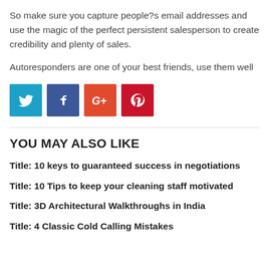So make sure you capture people?s email addresses and use the magic of the perfect persistent salesperson to create credibility and plenty of sales.
Autoresponders are one of your best friends, use them well
[Figure (infographic): Four social media share buttons: Twitter (light blue), Facebook (dark blue), Google+ (orange-red), Pinterest (dark red)]
YOU MAY ALSO LIKE
Title: 10 keys to guaranteed success in negotiations
Title: 10 Tips to keep your cleaning staff motivated
Title: 3D Architectural Walkthroughs in India
Title: 4 Classic Cold Calling Mistakes